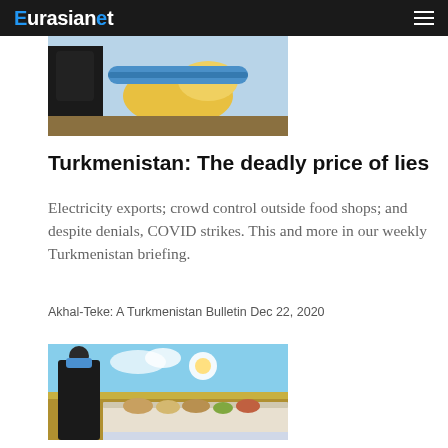Eurasianet
[Figure (photo): Top cropped photo of a person in dark clothing near colorful machinery or equipment with blue and yellow elements]
Turkmenistan: The deadly price of lies
Electricity exports; crowd control outside food shops; and despite denials, COVID strikes. This and more in our weekly Turkmenistan briefing.
Akhal-Teke: A Turkmenistan Bulletin Dec 22, 2020
[Figure (photo): A man wearing a black jacket and blue surgical mask standing in front of a table laden with food, with a wheat field backdrop photo behind him]
Isolation of luxury: Tajik president visits closed...